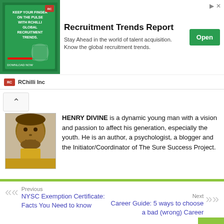[Figure (infographic): RChilli Inc advertisement banner for Recruitment Trends Report with green themed image on left, text in center, and Open button on right]
HENRY DIVINE is a dynamic young man with a vision and passion to affect his generation, especially the youth. He is an author, a psychologist, a blogger and the Initiator/Coordinator of The Sure Success Project.
Previous
NYSC Exemption Certificate: Facts You Need to know
Next
Career Guide: 5 ways to choose a bad (wrong) Career
LEAVE A REPLY
Your email address will not be published. Required fields